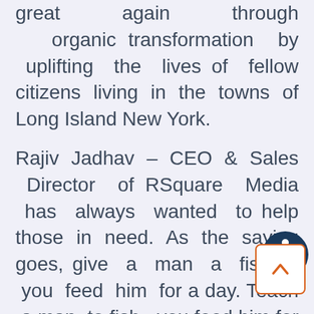great again through organic transformation by uplifting the lives of fellow citizens living in the towns of Long Island New York.
Rajiv Jadhav – CEO & Sales Director of RSquare Media has always wanted to help those in need. As the saying goes, give a man a fish – you feed him for a day. Teach a man to fish, you feed him for a lifetime. Rajiv Jadhav has held (and continues) to hold workshops and seminars to help people with their job search process by leveraging social media, the internet and common sense.
Here's a recent recording from a
[Figure (illustration): Circular accessibility icon with dark navy background and white figure with arms and legs spread in a circle, similar to the universal accessibility symbol.]
[Figure (illustration): Back to top button: white square with rounded corners, orange/salmon border, containing an upward-pointing caret/chevron arrow in orange.]